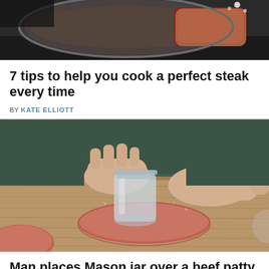[Figure (photo): Top portion of a cooking scene showing a steak in a pan with seasoning/breadcrumbs, on a stovetop.]
7 tips to help you cook a perfect steak every time
BY KATE ELLIOTT
[Figure (photo): Person wearing a green long-sleeved shirt pressing a glass Mason jar onto a raw ground beef patty on a wooden cutting board, with another portion of ground beef in the lower left corner.]
Man places Mason jar over a beef patty, but
© Cooktop Cove   About Ads   Terms   Privacy   Do Not Sell My Info